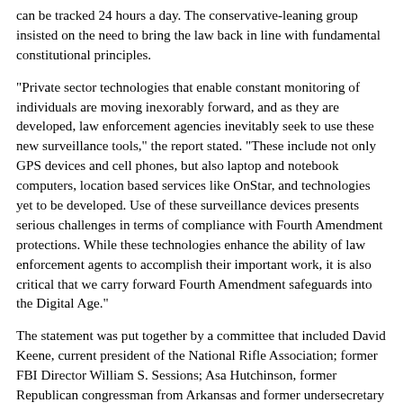can be tracked 24 hours a day. The conservative-leaning group insisted on the need to bring the law back in line with fundamental constitutional principles.
"Private sector technologies that enable constant monitoring of individuals are moving inexorably forward, and as they are developed, law enforcement agencies inevitably seek to use these new surveillance tools," the report stated. "These include not only GPS devices and cell phones, but also laptop and notebook computers, location based services like OnStar, and technologies yet to be developed. Use of these surveillance devices presents serious challenges in terms of compliance with Fourth Amendment protections. While these technologies enhance the ability of law enforcement agents to accomplish their important work, it is also critical that we carry forward Fourth Amendment safeguards into the Digital Age."
The statement was put together by a committee that included David Keene, current president of the National Rifle Association; former FBI Director William S. Sessions; Asa Hutchinson, former Republican congressman from Arkansas and former undersecretary of the Department of Homeland Security; Mickey Edwards, former Republican congressman from Oklahoma; and former US Court of Appeals Judge Patricia Wald.